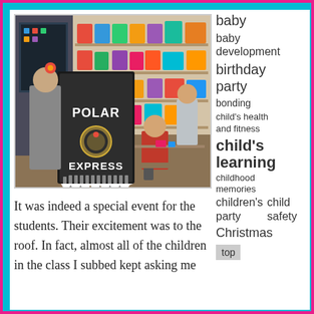[Figure (photo): Classroom scene showing a Polar Express themed sign/board in foreground with children and teacher in background. Shelves with colorful bins visible.]
It was indeed a special event for the students.  Their excitement was to the roof.  In fact, almost all of the children in the class I subbed kept asking me
baby
baby development
birthday party
bonding
child's health and fitness
child's learning
childhood memories
children's party
child safety
Christmas
top